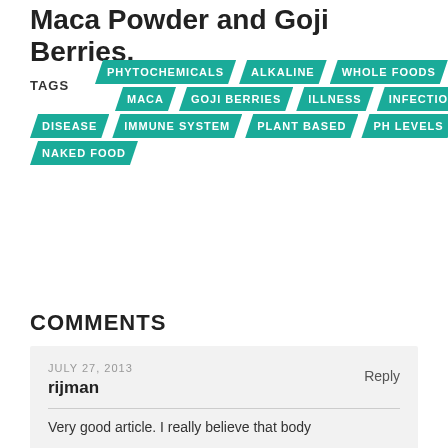Maca Powder and Goji Berries.
TAGS: PHYTOCHEMICALS, ALKALINE, WHOLE FOODS, MACA, GOJI BERRIES, ILLNESS, INFECTION, DISEASE, IMMUNE SYSTEM, PLANT BASED, PH LEVELS, NAKED FOOD
COMMENTS
JULY 27, 2013
rijman
Reply
Very good article. I really believe that body